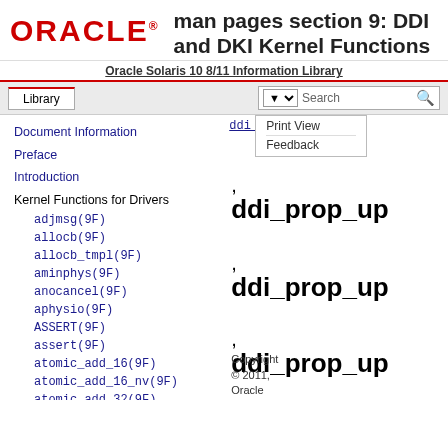man pages section 9: DDI and DKI Kernel Functions
Oracle Solaris 10 8/11 Information Library
Library | Search
Print View | ddi_prop_update | Feedback
Document Information
Preface
Introduction
Kernel Functions for Drivers
adjmsg(9F)
allocb(9F)
allocb_tmpl(9F)
aminphys(9F)
anocancel(9F)
aphysio(9F)
ASSERT(9F)
assert(9F)
atomic_add_16(9F)
atomic_add_16_nv(9F)
atomic_add_32(9F)
atomic_add_32_nv(9F)
atomic_add_64(9F)
atomic_add_64_nv(9F)
atomic_add_8(9F)
ddi_prop_up
ddi_prop_up
ddi_prop_up
ddi_prop_up
Copyright © 2011, Oracle